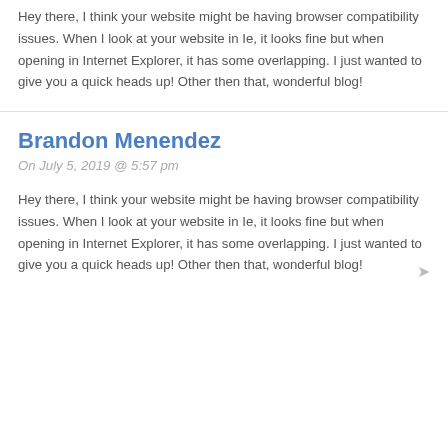Hey there, I think your website might be having browser compatibility issues. When I look at your website in Ie, it looks fine but when opening in Internet Explorer, it has some overlapping. I just wanted to give you a quick heads up! Other then that, wonderful blog!
Brandon Menendez
On July 5, 2019 @ 5:57 pm
Hey there, I think your website might be having browser compatibility issues. When I look at your website in Ie, it looks fine but when opening in Internet Explorer, it has some overlapping. I just wanted to give you a quick heads up! Other then that, wonderful blog!